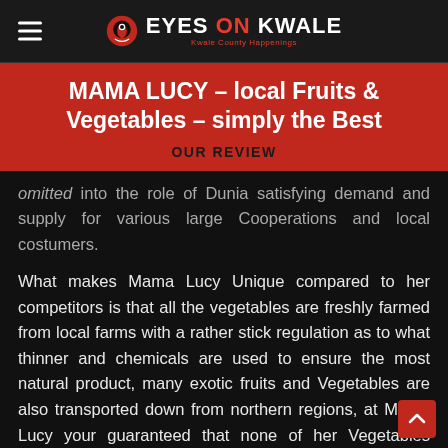EYES ON KWALE — Kwale County Happenings
MAMA LUCY – local Fruits & Vegetables – simply the Best
OUR REVIEW
…omitted into the role of Dunia satisfying demand and supply for various large Cooperations and local costumers.
What makes Mama Lucy Unique compared to her competitors is that all the vegetables are freshly farmed from local farms with a rather stick regulation as to what thinner and chemicals are used to ensure the most natural product, many exotic fruits and Vegetables are also transported down from northern regions, at Mama Lucy your guaranteed that none of her Vegetables frozen or cooled overnight everything is fresh.